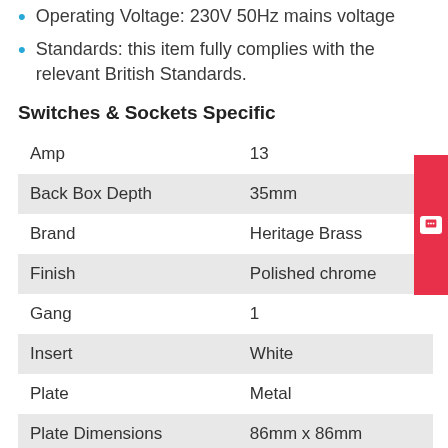Operating Voltage: 230V 50Hz mains voltage
Standards: this item fully complies with the relevant British Standards.
Switches & Sockets Specific
| Amp | 13 |
| Back Box Depth | 35mm |
| Brand | Heritage Brass |
| Finish | Polished chrome |
| Gang | 1 |
| Insert | White |
| Plate | Metal |
| Plate Dimensions | 86mm x 86mm |